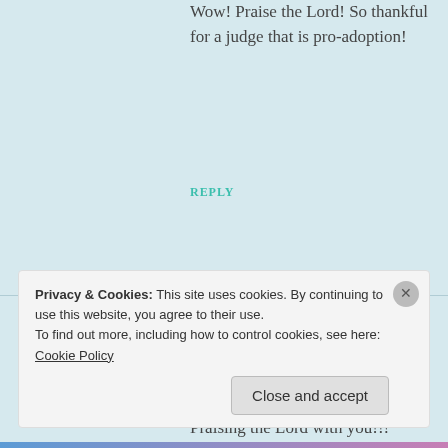Wow! Praise the Lord! So thankful for a judge that is pro-adoption!
REPLY
[Figure (illustration): Geometric/mosaic style avatar icon with brown/gold diamond pattern on white background]
Erika
OCTOBER 13, 2011 AT 7:48 PM
Praising the Lord with you!!!
Privacy & Cookies: This site uses cookies. By continuing to use this website, you agree to their use.
To find out more, including how to control cookies, see here: Cookie Policy
Close and accept